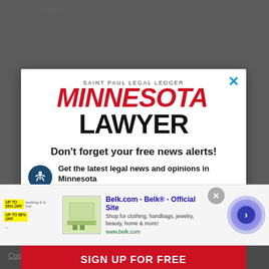crisis."
[Figure (logo): Minnesota Lawyer / Saint Paul Legal Ledger logo with red MINNESOTA and black LAWYER text]
Don't forget your free news alerts!
Get the latest legal news and opinions in Minnesota
[Figure (screenshot): Belk.com advertisement banner: 'Belk® - Official Site. Shop for clothing, handbags, jewelry, beauty, home & more! www.belk.com']
SIGN UP FOR FREE
Cookie settings
ACCEPT